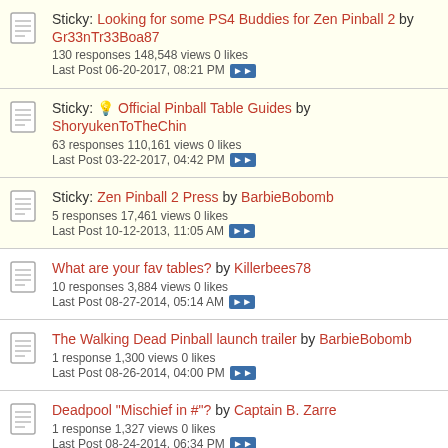Sticky: Looking for some PS4 Buddies for Zen Pinball 2 by Gr33nTr33Boa87 — 130 responses 148,548 views 0 likes — Last Post 06-20-2017, 08:21 PM
Sticky: 💡 Official Pinball Table Guides by ShoryukenToTheChin — 63 responses 110,161 views 0 likes — Last Post 03-22-2017, 04:42 PM
Sticky: Zen Pinball 2 Press by BarbieBobomb — 5 responses 17,461 views 0 likes — Last Post 10-12-2013, 11:05 AM
What are your fav tables? by Killerbees78 — 10 responses 3,884 views 0 likes — Last Post 08-27-2014, 05:14 AM
The Walking Dead Pinball launch trailer by BarbieBobomb — 1 response 1,300 views 0 likes — Last Post 08-26-2014, 04:00 PM
Deadpool "Mischief in #"? by Captain B. Zarre — 1 response 1,327 views 0 likes — Last Post 08-24-2014, 06:34 PM
PS4 leaderboards/friends issue by Metalzoic — 4 responses 1,543 views 0 likes